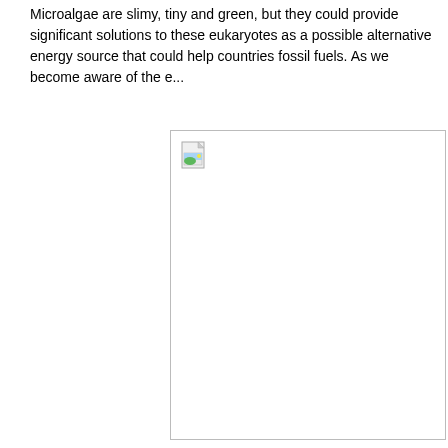Microalgae are slimy, tiny and green, but they could provide significant solutions to these eukaryotes as a possible alternative energy source that could help countries fossil fuels. As we become aware of the e...
[Figure (photo): A broken/missing image placeholder with a small landscape icon in the top-left corner, shown inside a bordered rectangle.]